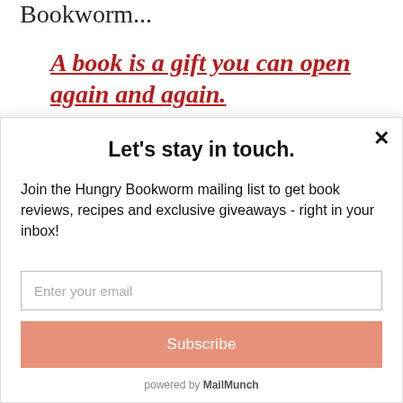Bookworm...
A book is a gift you can open again and again.
Let's stay in touch.
Join the Hungry Bookworm mailing list to get book reviews, recipes and exclusive giveaways - right in your inbox!
Enter your email
Subscribe
powered by MailMunch